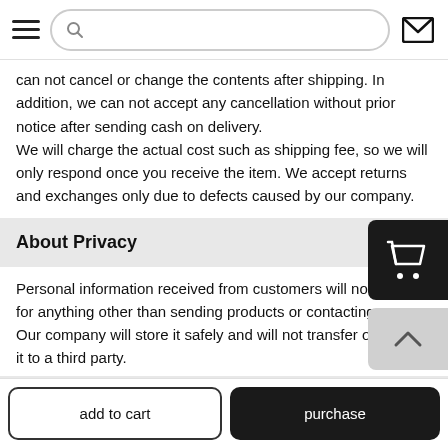[hamburger menu] [search bar] [mail icon]
can not cancel or change the contents after shipping. In addition, we can not accept any cancellation without prior notice after sending cash on delivery.
We will charge the actual cost such as shipping fee, so we will only respond once you receive the item. We accept returns and exchanges only due to defects caused by our company.
About Privacy
Personal information received from customers will not be used for anything other than sending products or contacting us.
Our company will store it safely and will not transfer or provide it to a third party.
About Reviews U...
add to cart   purchase